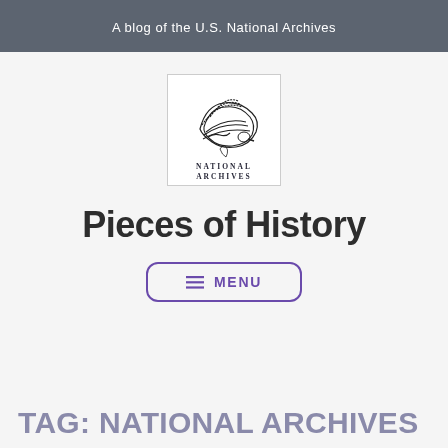A blog of the U.S. National Archives
[Figure (logo): National Archives logo with eagle and wave, text 'NATIONAL ARCHIVES' below]
Pieces of History
≡ MENU
TAG: NATIONAL ARCHIVES